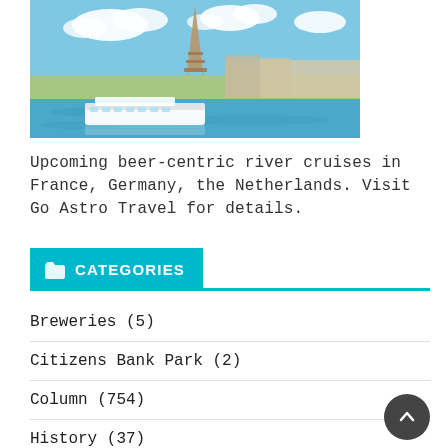[Figure (photo): Photo of the Eiffel Tower viewed from the Seine River with a river cruise boat in the foreground, blue sky with white clouds, green trees along the riverbank.]
Upcoming beer-centric river cruises in France, Germany, the Netherlands. Visit Go Astro Travel for details.
CATEGORIES
Breweries (5)
Citizens Bank Park (2)
Column (754)
History (37)